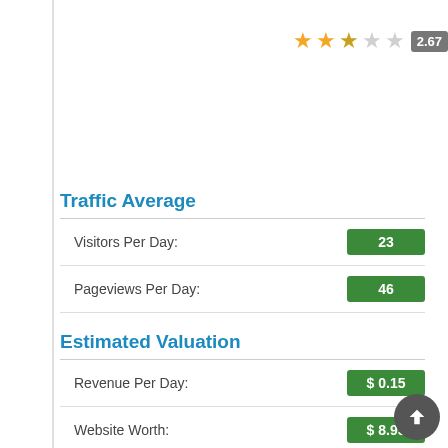[Figure (other): Star rating: 2.67 out of 5 stars (2 filled, 1 half, 2 empty) with score badge showing 2.67]
Traffic Average
| Metric | Value |
| --- | --- |
| Visitors Per Day: | 23 |
| Pageviews Per Day: | 46 |
Estimated Valuation
| Metric | Value |
| --- | --- |
| Revenue Per Day: | $ 0.15 |
| Website Worth: | $ 8.95 |
Found Backlinks
| Metric | Value |
| --- | --- |
| By Bing: | 1 |